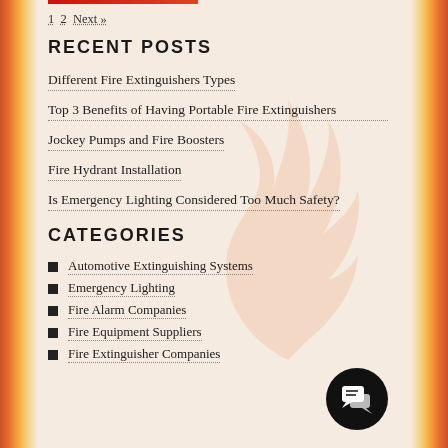1 2 Next »
RECENT POSTS
Different Fire Extinguishers Types
Top 3 Benefits of Having Portable Fire Extinguishers
Jockey Pumps and Fire Boosters
Fire Hydrant Installation
Is Emergency Lighting Considered Too Much Safety?
CATEGORIES
Automotive Extinguishing Systems
Emergency Lighting
Fire Alarm Companies
Fire Equipment Suppliers
Fire Extinguisher Companies
[Figure (illustration): Chat/message icon in a black circle, bottom right corner]